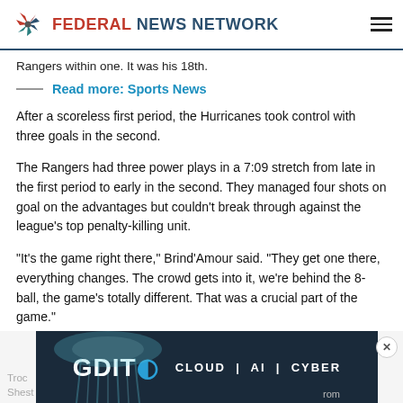FEDERAL NEWS NETWORK
Rangers within one. It was his 18th.
Read more: Sports News
After a scoreless first period, the Hurricanes took control with three goals in the second.
The Rangers had three power plays in a 7:09 stretch from late in the first period to early in the second. They managed four shots on goal on the advantages but couldn't break through against the league's top penalty-killing unit.
“It’s the game right there,” Brind’Amour said. “They get one there, everything changes. The crowd gets into it, we’re behind the 8-ball, the game’s totally different. That was a crucial part of the game.”
[Figure (advertisement): GDIT advertisement banner with jellyfish image and text: CLOUD | AI | CYBER]